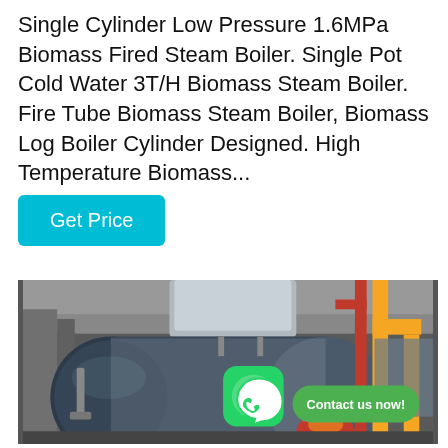Single Cylinder Low Pressure 1.6MPa Biomass Fired Steam Boiler. Single Pot Cold Water 3T/H Biomass Steam Boiler. Fire Tube Biomass Steam Boiler, Biomass Log Boiler Cylinder Designed. High Temperature Biomass...
[Figure (other): A cyan/teal 'Get Price' button with rounded corners]
[Figure (photo): Industrial biomass steam boiler in a factory setting. A large horizontal cylindrical dark blue/gray boiler vessel is visible with a red burner at the bottom. Yellow gas pipes are visible on the right side. A WhatsApp icon and 'Contact us now!' green bubble overlay are shown in the center of the image.]